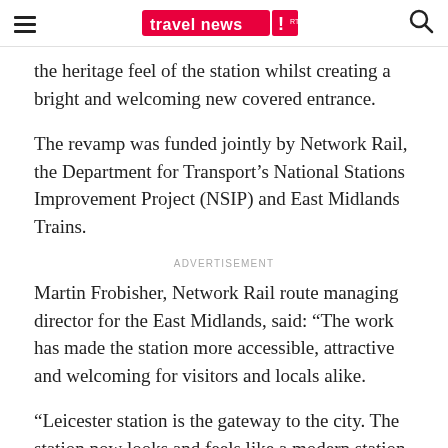travel news
the heritage feel of the station whilst creating a bright and welcoming new covered entrance.
The revamp was funded jointly by Network Rail, the Department for Transport’s National Stations Improvement Project (NSIP) and East Midlands Trains.
ADVERTISEMENT
Martin Frobisher, Network Rail route managing director for the East Midlands, said: “The work has made the station more accessible, attractive and welcoming for visitors and locals alike.
“Leicester station is the gateway to the city. The station now looks and feels like a modern station and has radically improved the customer experience.”